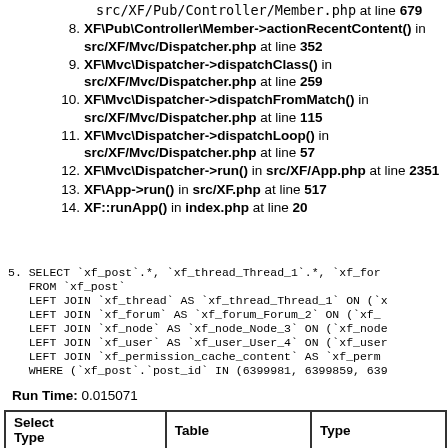src/XF/Pub/Controller/Member.php at line 679
8. XF\Pub\Controller\Member->actionRecentContent() in src/XF/Mvc/Dispatcher.php at line 352
9. XF\Mvc\Dispatcher->dispatchClass() in src/XF/Mvc/Dispatcher.php at line 259
10. XF\Mvc\Dispatcher->dispatchFromMatch() in src/XF/Mvc/Dispatcher.php at line 115
11. XF\Mvc\Dispatcher->dispatchLoop() in src/XF/Mvc/Dispatcher.php at line 57
12. XF\Mvc\Dispatcher->run() in src/XF/App.php at line 2351
13. XF\App->run() in src/XF.php at line 517
14. XF::runApp() in index.php at line 20
5. SELECT `xf_post`.*, `xf_thread_Thread_1`.*, `xf_for FROM `xf_post` LEFT JOIN `xf_thread` AS `xf_thread_Thread_1` ON (` LEFT JOIN `xf_forum` AS `xf_forum_Forum_2` ON (`xf_ LEFT JOIN `xf_node` AS `xf_node_Node_3` ON (`xf_node LEFT JOIN `xf_user` AS `xf_user_User_4` ON (`xf_user LEFT JOIN `xf_permission_cache_content` AS `xf_perm WHERE (`xf_post`.`post_id` IN (6399981, 6399859, 63
Run Time: 0.015071
| Select Type | Table | Type |
| --- | --- | --- |